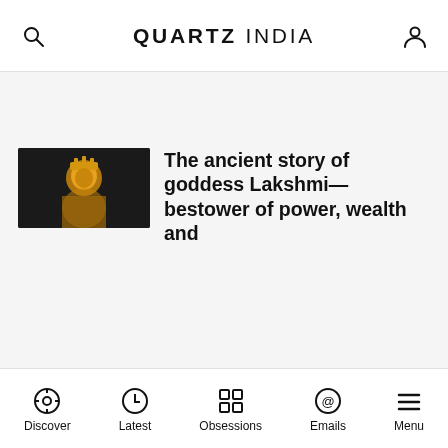QUARTZ INDIA
[Figure (screenshot): Thumbnail image of goddess Lakshmi statue with golden ornamentation against a dark background]
The ancient story of goddess Lakshmi—bestower of power, wealth and
Discover  Latest  Obsessions  Emails  Menu